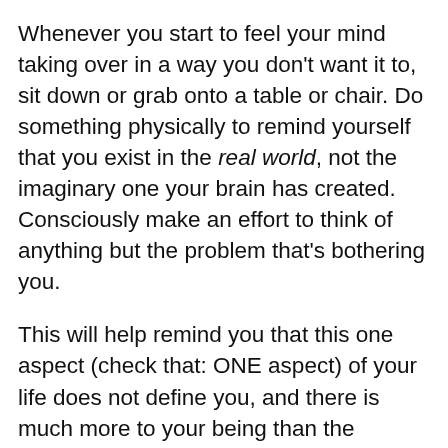Whenever you start to feel your mind taking over in a way you don't want it to, sit down or grab onto a table or chair. Do something physically to remind yourself that you exist in the real world, not the imaginary one your brain has created. Consciously make an effort to think of anything but the problem that's bothering you.
This will help remind you that this one aspect (check that: ONE aspect) of your life does not define you, and there is much more to your being than the mistake your brain won't stop harping on.
Remember: you can either let your thoughts overcome you, or you can overcome your thoughts. You can accomplish nothing but the